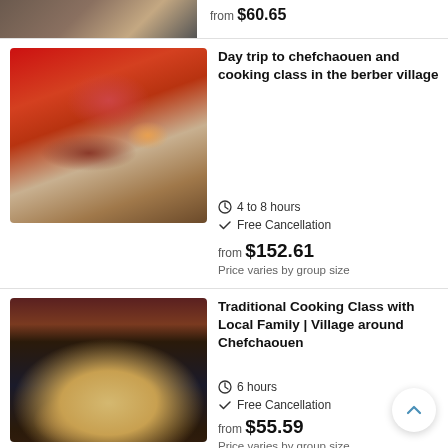from $60.65
Day trip to chefchaouen and cooking class in the berber village
4 to 8 hours
Free Cancellation
from $152.61
Price varies by group size
Traditional Cooking Class with Local Family | Village around Chefchaouen
6 hours
Free Cancellation
from $55.59
Price varies by group size